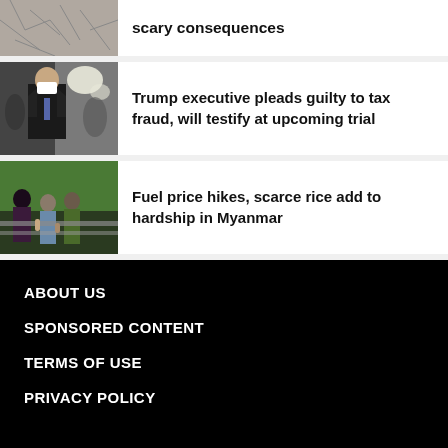[Figure (photo): Cracked dry earth texture, top partial article thumbnail]
scary consequences
[Figure (photo): Man in dark suit and face mask walking outside building with cameras and lights in background]
Trump executive pleads guilty to tax fraud, will testify at upcoming trial
[Figure (photo): Group of people on a street in Myanmar, possibly in a queue or crowd scene]
Fuel price hikes, scarce rice add to hardship in Myanmar
ABOUT US
SPONSORED CONTENT
TERMS OF USE
PRIVACY POLICY